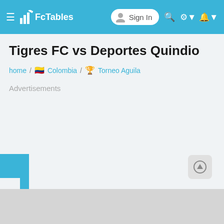FcTables — Sign In
Tigres FC vs Deportes Quindio
home / 🇨🇴 Colombia / 🏆 Torneo Aguila
Advertisements